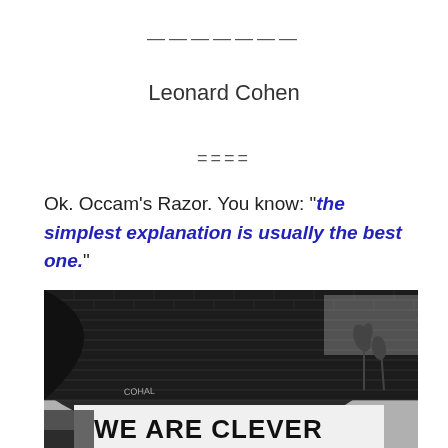———————
Leonard Cohen
====
Ok. Occam's Razor. You know: "the simplest explanation is usually the best one."
[Figure (photo): Black and white photo of a curved brick building with graffiti text reading 'WE ARE CLEVER BUT...' on a white banner along the bottom, with palm trees visible in the background sky.]